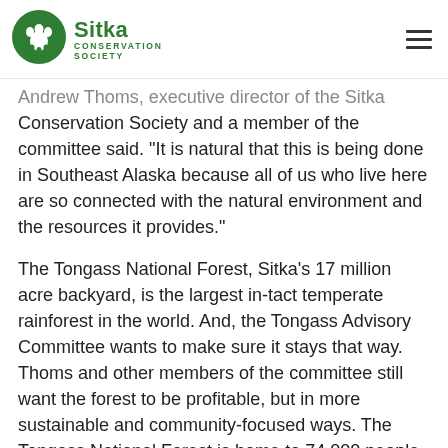[Figure (logo): Sitka Conservation Society logo — green circle with bear paw print and footprint, with text 'Sitka Conservation Society' in green]
Andrew Thoms, executive director of the Sitka Conservation Society and a member of the committee said. "It is natural that this is being done in Southeast Alaska because all of us who live here are so connected with the natural environment and the resources it provides."
The Tongass National Forest, Sitka's 17 million acre backyard, is the largest in-tact temperate rainforest in the world. And, the Tongass Advisory Committee wants to make sure it stays that way. Thoms and other members of the committee still want the forest to be profitable, but in more sustainable and community-focused ways. The Tongass National Forest is home to 74,000 people.
"I am very impressed that 15 people can come to consensus and put community at the top of the list."